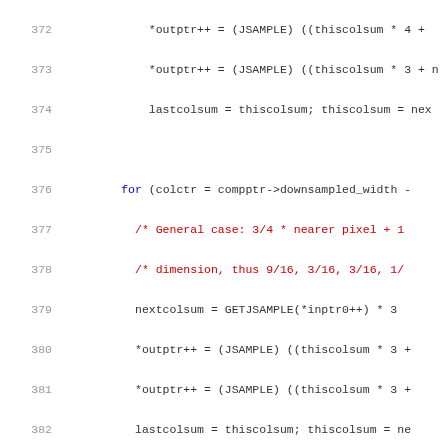Source code listing lines 372-392
372     *outptr++ = (JSAMPLE) ((thiscolsum * 4 +
373     *outptr++ = (JSAMPLE) ((thiscolsum * 3 + n
374     lastcolsum = thiscolsum; thiscolsum = nex
375
376     for (colctr = compptr->downsampled_width -
377       /* General case: 3/4 * nearer pixel + 1
378       /* dimension, thus 9/16, 3/16, 3/16, 1/
379       nextcolsum = GETJSAMPLE(*inptr0++) * 3
380       *outptr++ = (JSAMPLE) ((thiscolsum * 3 +
381       *outptr++ = (JSAMPLE) ((thiscolsum * 3 +
382       lastcolsum = thiscolsum; thiscolsum = ne
383     }
384
385       /* Special case for last column */
386       *outptr++ = (JSAMPLE) ((thiscolsum * 3 +
387       *outptr++ = (JSAMPLE) ((thiscolsum * 4 +
388     }
389     inrow++;
390   }
391 }
392
393